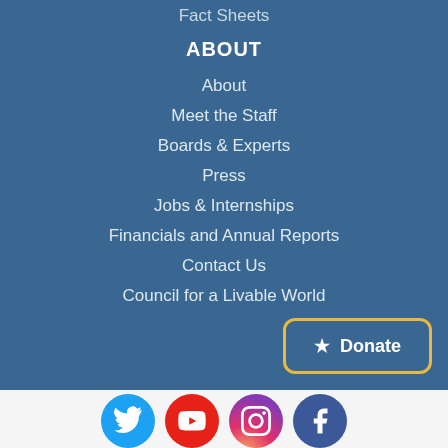Fact Sheets
ABOUT
About
Meet the Staff
Boards & Experts
Press
Jobs & Internships
Financials and Annual Reports
Contact Us
Council for a Livable World
Donate
[Figure (illustration): Social media icons row: Twitter, YouTube, Instagram, Facebook]